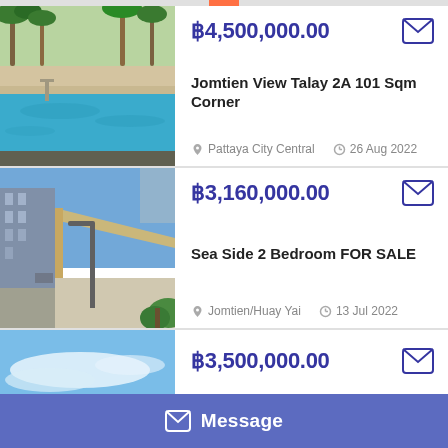[Figure (photo): Swimming pool with palm trees and lush greenery in background]
฿4,500,000.00
Jomtien View Talay 2A 101 Sqm Corner
Pattaya City Central
26 Aug 2022
[Figure (photo): Street view with tall buildings and covered walkway]
฿3,160,000.00
Sea Side 2 Bedroom FOR SALE
Jomtien/Huay Yai
13 Jul 2022
[Figure (photo): Blue sky with clouds, partial property view]
฿3,500,000.00
Message